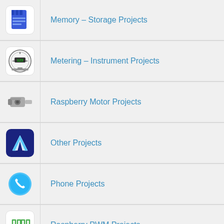Memory – Storage Projects
Metering – Instrument Projects
Raspberry Motor Projects
Other Projects
Phone Projects
Raspberry PWM Projects
Radio Projects
Raspberry RFID Projects